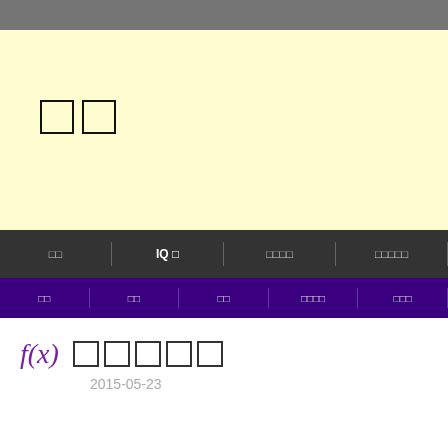[gray header bar]
[Figure (screenshot): Yellow background area with two placeholder character boxes (CJK characters rendered as empty boxes)]
[dark navigation bar] [menu item] | IQ [box] | [boxes] | [boxes] |
[purple navigation bar] [box] | [box] | [box] | [boxes] | [boxes] |
f(x)  [boxes] 2015-05-23